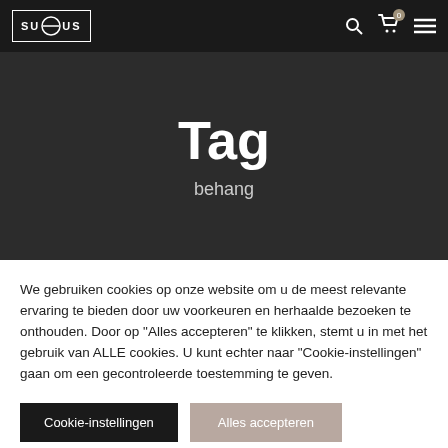SU S US logo navigation bar with search, cart (0), and menu icons
Tag
behang
We gebruiken cookies op onze website om u de meest relevante ervaring te bieden door uw voorkeuren en herhaalde bezoeken te onthouden. Door op "Alles accepteren" te klikken, stemt u in met het gebruik van ALLE cookies. U kunt echter naar "Cookie-instellingen" gaan om een gecontroleerde toestemming te geven.
Cookie-instellingen | Alles accepteren